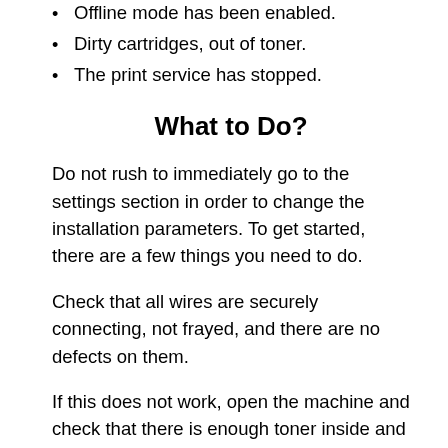Offline mode has been enabled.
Dirty cartridges, out of toner.
The print service has stopped.
What to Do?
Do not rush to immediately go to the settings section in order to change the installation parameters. To get started, there are a few things you need to do.
Check that all wires are securely connecting, not frayed, and there are no defects on them.
If this does not work, open the machine and check that there is enough toner inside and that the paper is not jamming or caught in the machine in some way. If you find any of these problems, it's easy to